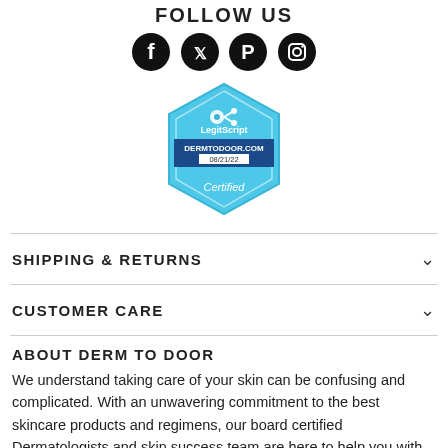FOLLOW US
[Figure (illustration): Four social media icons (Facebook, Twitter, Pinterest, Instagram) as white icons on black circles]
[Figure (logo): LegitScript certified badge for DERMTODOOR.COM 08/21/22, hexagonal shape in light blue with dark blue banner]
SHIPPING & RETURNS
CUSTOMER CARE
ABOUT DERM TO DOOR
We understand taking care of your skin can be confusing and complicated. With an unwavering commitment to the best skincare products and regimens, our board certified Dermatologists and skin success team are here to help you with your skincare journey. You deserve to feel confident in your skin.